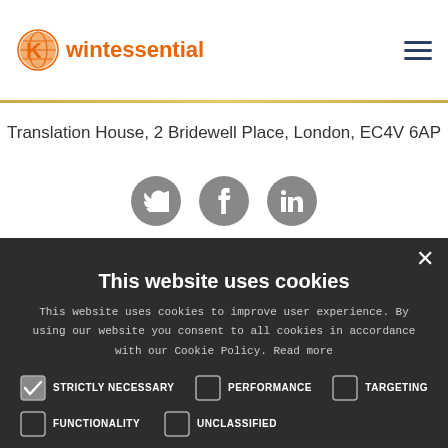[Figure (logo): Kwintessential logo with orange globe icon and orange text]
Translation House, 2 Bridewell Place, London, EC4V 6AP
[Figure (other): Social media icons: Twitter, Facebook, LinkedIn in grey circles]
This website uses cookies
This website uses cookies to improve user experience. By using our website you consent to all cookies in accordance with our Cookie Policy. Read more
STRICTLY NECESSARY (checked), PERFORMANCE (unchecked), TARGETING (unchecked)
FUNCTIONALITY (unchecked), UNCLASSIFIED (unchecked)
ACCEPT ALL | DECLINE ALL
SHOW DETAILS